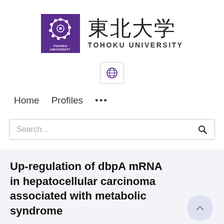[Figure (logo): Tohoku University logo: purple square with circular snake/chain emblem in white, text TOHOKU UNIVERSITY below emblem, and large kanji characters 東北大学 beside logo]
[Figure (logo): Small globe icon in a bordered box, centered on page]
Home   Profiles   ...
Search...
Up-regulation of dbpA mRNA in hepatocellular carcinoma associated with metabolic syndrome